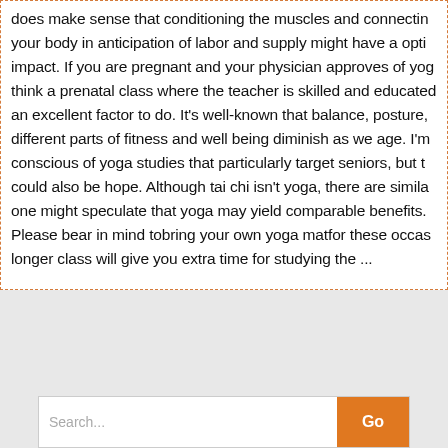does make sense that conditioning the muscles and connecting your body in anticipation of labor and supply might have a opti impact. If you are pregnant and your physician approves of yog think a prenatal class where the teacher is skilled and educated an excellent factor to do. It's well-known that balance, posture, different parts of fitness and well being diminish as we age. I'm conscious of yoga studies that particularly target seniors, but t could also be hope. Although tai chi isn't yoga, there are simila one might speculate that yoga may yield comparable benefits. Please bear in mind tobring your own yoga matfor these occas longer class will give you extra time for studying the ...